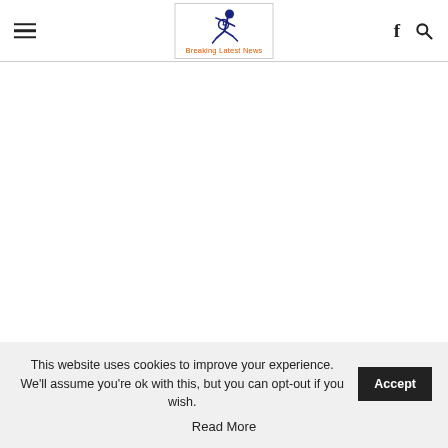Breaking Latest News — site header with hamburger menu, logo, Facebook and search icons
This website uses cookies to improve your experience. We'll assume you're ok with this, but you can opt-out if you wish. Accept Read More